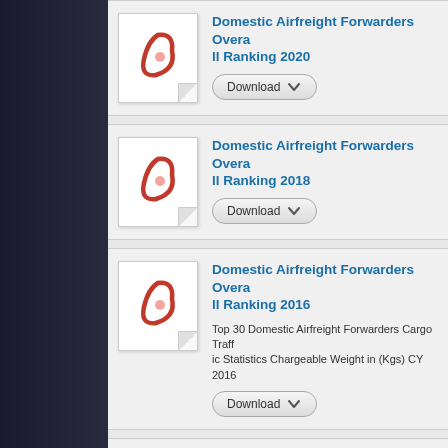Domestic Airfreight Forwarders Overall Ranking 2020
[Figure (illustration): Adobe PDF document icon]
Download
Domestic Airfreight Forwarders Overall Ranking 2018
[Figure (illustration): Adobe PDF document icon]
Download
Domestic Airfreight Forwarders Overall Ranking 2016
[Figure (illustration): Adobe PDF document icon]
Top 30 Domestic Airfreight Forwarders Cargo Traffic Statistics Chargeable Weight in (Kgs) CY 2016
Download